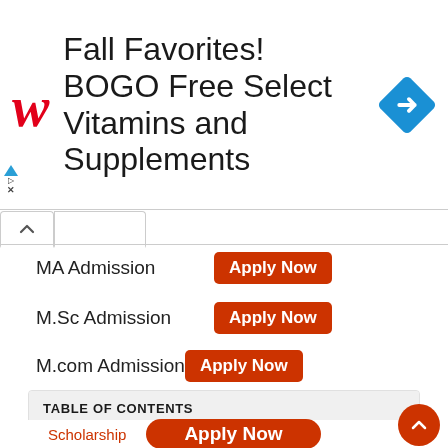[Figure (screenshot): Walgreens advertisement banner: Fall Favorites! BOGO Free Select Vitamins and Supplements, with Walgreens logo and blue diamond arrow icon]
MA Admission  [Apply Now]
M.Sc Admission  [Apply Now]
M.com Admission  [Apply Now]
TABLE OF CONTENTS
Shri Mata Vaishno Devi University Admission 2022-23
Eligibility Criteria:-
Main Features
Scholarship
Apply Now